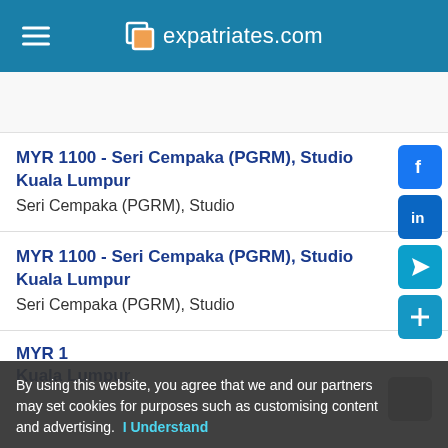expatriates.com
MYR 1100 - Seri Cempaka (PGRM), Studio Kuala Lumpur
Seri Cempaka (PGRM), Studio
MYR 1100 - Seri Cempaka (PGRM), Studio Kuala Lumpur
Seri Cempaka (PGRM), Studio
By using this website, you agree that we and our partners may set cookies for purposes such as customising content and advertising. I Understand